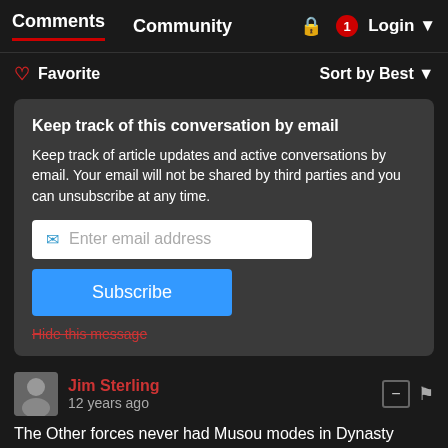Comments  Community  Login
♡ Favorite    Sort by Best
Keep track of this conversation by email
Keep track of article updates and active conversations by email. Your email will not be shared by third parties and you can unsubscribe at any time.
Enter email address
Subscribe
Hide this message
Jim Sterling
12 years ago
The Other forces never had Musou modes in Dynasty Warriors 3, either. It seems there are quite a few similarities between this and that, among which...